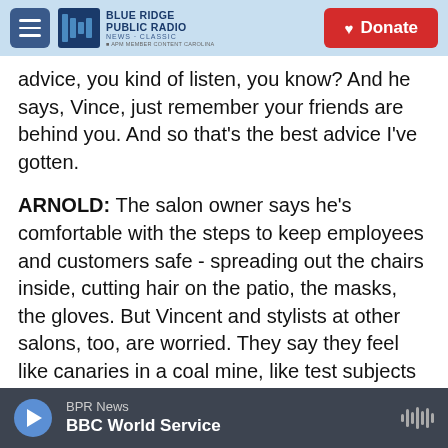Blue Ridge Public Radio | News + Classic | Donate
advice, you kind of listen, you know? And he says, Vince, just remember your friends are behind you. And so that's the best advice I've gotten.
ARNOLD: The salon owner says he's comfortable with the steps to keep employees and customers safe - spreading out the chairs inside, cutting hair on the patio, the masks, the gloves. But Vincent and stylists at other salons, too, are worried. They say they feel like canaries in a coal mine, like test subjects to see whether parts of the economy where you can't social distance are opening up too fast.
BPR News | BBC World Service